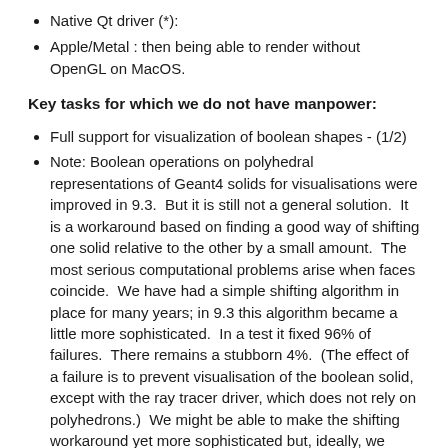Native Qt driver (*):
Apple/Metal : then being able to render without OpenGL on MacOS.
Key tasks for which we do not have manpower:
Full support for visualization of boolean shapes - (1/2)
Note: Boolean operations on polyhedral representations of Geant4 solids for visualisations were improved in 9.3.  But it is still not a general solution.  It is a workaround based on finding a good way of shifting one solid relative to the other by a small amount.  The most serious computational problems arise when faces coincide.  We have had a simple shifting algorithm in place for many years; in 9.3 this algorithm became a little more sophisticated.  In a test it fixed 96% of failures.  There remains a stubborn 4%.  (The effect of a failure is to prevent visualisation of the boolean solid, except with the ray tracer driver, which does not rely on polyhedrons.)  We might be able to make the shifting workaround yet more sophisticated but, ideally, we really need a comprehensive solution, a daunting re-write and